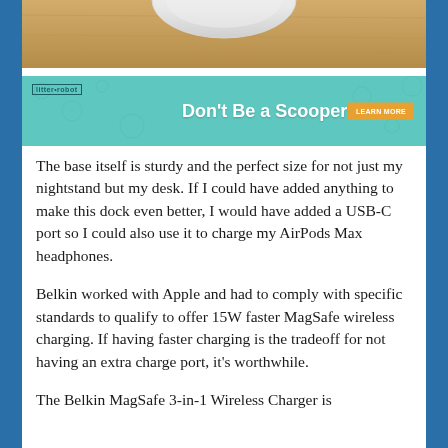[Figure (photo): Top portion of a product photo showing a white circular wireless charger base on a wooden desk surface, partially cropped]
[Figure (photo): Litter-Robot advertisement banner with teal/mint background showing a woman with red gloves and yellow jacket holding a litter scoop, with text 'Don't Be a Scooper' and an orange 'LEARN MORE' button]
The base itself is sturdy and the perfect size for not just my nightstand but my desk. If I could have added anything to make this dock even better, I would have added a USB-C port so I could also use it to charge my AirPods Max headphones.
Belkin worked with Apple and had to comply with specific standards to qualify to offer 15W faster MagSafe wireless charging. If having faster charging is the tradeoff for not having an extra charge port, it's worthwhile.
The Belkin MagSafe 3-in-1 Wireless Charger is